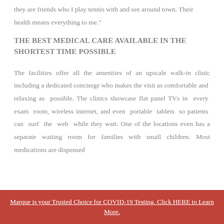they are friends who I play tennis with and see around town. Their health means everything to me."
THE BEST MEDICAL CARE AVAILABLE IN THE SHORTEST TIME POSSIBLE
The facilities offer all the amenities of an upscale walk-in clinic including a dedicated concierge who makes the visit as comfortable and relaxing as possible. The clinics showcase flat panel TVs in every exam room, wireless internet, and even portable tablets so patients can surf the web while they wait. One of the locations even has a separate waiting room for families with small children. Most medications are dispensed
Marque is your Trusted Choice for COVID-19 Testing. Click HERE to Learn More.